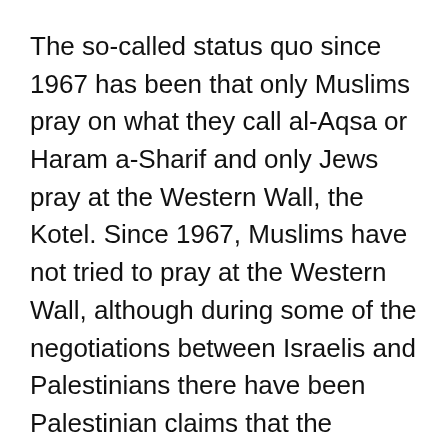The so-called status quo since 1967 has been that only Muslims pray on what they call al-Aqsa or Haram a-Sharif and only Jews pray at the Western Wall, the Kotel. Since 1967, Muslims have not tried to pray at the Western Wall, although during some of the negotiations between Israelis and Palestinians there have been Palestinian claims that the Western Wall is a Muslim holy site and should be under Muslim control. Jews have repeatedly tried to pray on the Temple Mount and some groups of Jews are actually planning to build a Jewish Temple with an alter for animal sacrifice in place of the al-Aqsa Mosque.
Israel has been conducting excavations in, around and underneath the Temple Mount for many years and Muslim fears regarding Israel's intentions at the Holy Site have some basis in reality. The latest Israeli court ruling allowing